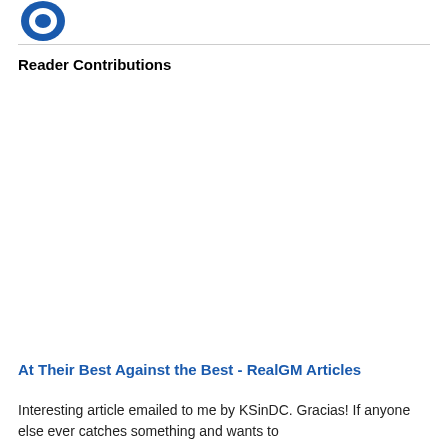[Figure (logo): Partial blue circular logo in top-left corner]
Reader Contributions
At Their Best Against the Best - RealGM Articles
Interesting article emailed to me by KSinDC. Gracias! If anyone else ever catches something and wants to